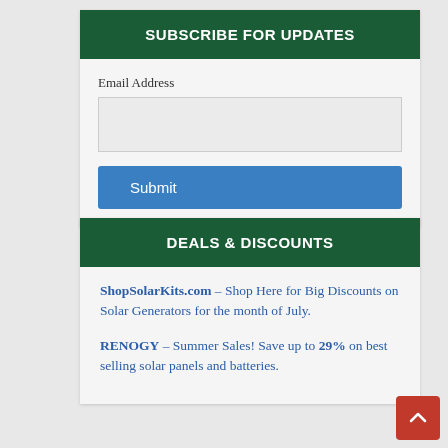SUBSCRIBE FOR UPDATES
Email Address
Submit
DEALS & DISCOUNTS
ShopSolarKits.com – Shop Here for Big Discounts on Solar Generators for the month of July.
RENOGY – Summer Sales! Save up to 29% on best selling solar panels and batteries.